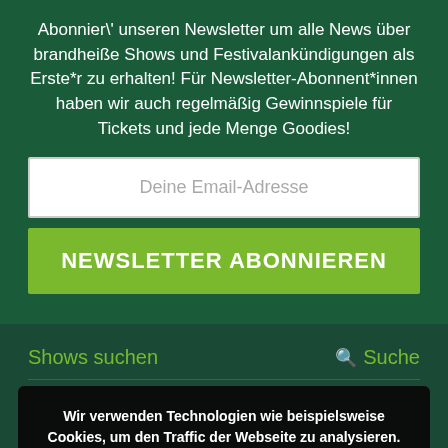Abonnier\' unseren Newsletter um alle News über brandheiße Shows und Festivalankündigungen als Erste*r zu erhalten! Für Newsletter-Abonnent*innen haben wir auch regelmäßig Gewinnspiele für Tickets und jede Menge Goodies!
Deine Email-Adresse
NEWSLETTER ABONNIEREN
Shows suchen
Suche
Wir verwenden Technologien wie beispielsweise Cookies, um den Traffic der Webseite zu analysieren. Details dazu findest du in unserer Datenschutzerklärung.
Akzeptieren